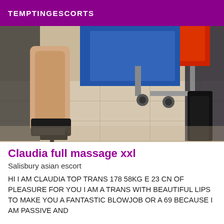TEMPTINGESCORTS
[Figure (photo): Photo showing legs of a person wearing black high heels, with a red and black office chair on a tiled floor in the background]
Claudia full massage xxl
Salisbury asian escort
HI I AM CLAUDIA TOP TRANS 178 58KG E 23 CN OF PLEASURE FOR YOU I AM A TRANS WITH BEAUTIFUL LIPS TO MAKE YOU A FANTASTIC BLOWJOB OR A 69 BECAUSE I AM PASSIVE AND